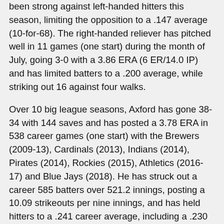been strong against left-handed hitters this season, limiting the opposition to a .147 average (10-for-68). The right-handed reliever has pitched well in 11 games (one start) during the month of July, going 3-0 with a 3.86 ERA (6 ER/14.0 IP) and has limited batters to a .200 average, while striking out 16 against four walks.
Over 10 big league seasons, Axford has gone 38-34 with 144 saves and has posted a 3.78 ERA in 538 career games (one start) with the Brewers (2009-13), Cardinals (2013), Indians (2014), Pirates (2014), Rockies (2015), Athletics (2016-17) and Blue Jays (2018). He has struck out a career 585 batters over 521.2 innings, posting a 10.09 strikeouts per nine innings, and has held hitters to a .241 career average, including a .230 mark against lefties. Axford also is tied for the 11th most saves in the big leagues among active relievers.
Axford was originally selected by the Seattle